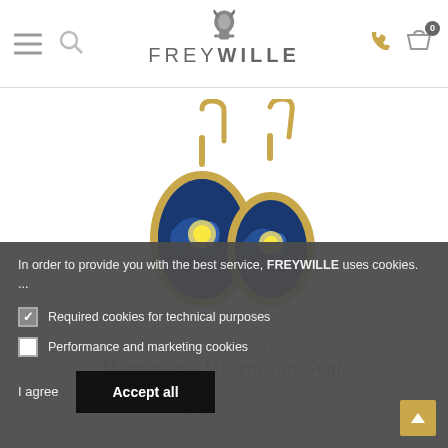FREYWILLE — Navigation header with hamburger menu, search, logo, phone and cart icons
[Figure (photo): Two gold drop earrings with oval enamel pendants featuring Van Gogh Starry Night swirl pattern in blue and yellow, on white background]
In order to provide you with the best service, FREYWILLE uses cookies. ...
Required cookies for technical purposes
Performance and marketing cookies
Earrings Waterdrops
Hommage à Vincent van Gogh
ÉTERNITÉ
$ 1,435.00
I agree
Accept all